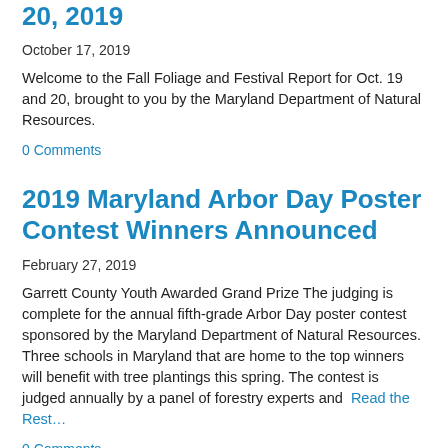20, 2019
October 17, 2019
Welcome to the Fall Foliage and Festival Report for Oct. 19 and 20, brought to you by the Maryland Department of Natural Resources.
0 Comments
2019 Maryland Arbor Day Poster Contest Winners Announced
February 27, 2019
Garrett County Youth Awarded Grand Prize The judging is complete for the annual fifth-grade Arbor Day poster contest sponsored by the Maryland Department of Natural Resources. Three schools in Maryland that are home to the top winners will benefit with tree plantings this spring. The contest is judged annually by a panel of forestry experts and  Read the Rest…
0 Comments